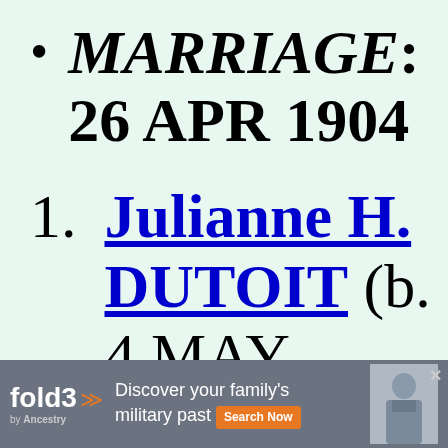MARRIAGE: 26 APR 1904
1. Julianne H. DUTOIT (b. 4 MAY 1912, d. 20 JUL
[Figure (infographic): Fold3 advertisement banner: 'Discover your family's military past' with Search Now button and Civil War soldier photo]